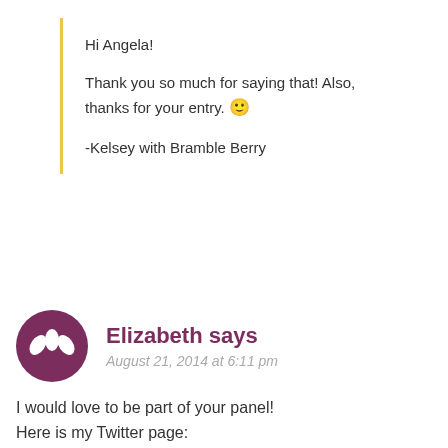Hi Angela!

Thank you so much for saying that! Also, thanks for your entry. 🙂

-Kelsey with Bramble Berry
Elizabeth says
August 21, 2014 at 6:11 pm
I would love to be part of your panel!

Here is my Twitter page:
https://twitter.com/ABreathOfFrench